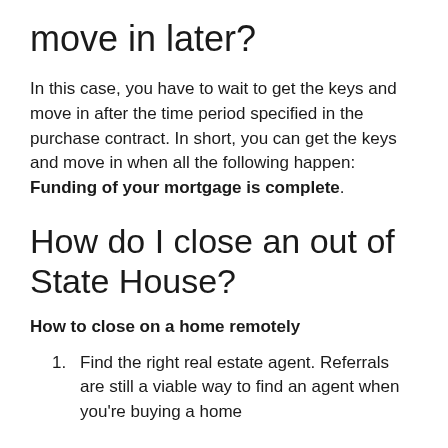move in later?
In this case, you have to wait to get the keys and move in after the time period specified in the purchase contract. In short, you can get the keys and move in when all the following happen: Funding of your mortgage is complete.
How do I close an out of State House?
How to close on a home remotely
Find the right real estate agent. Referrals are still a viable way to find an agent when you're buying a home